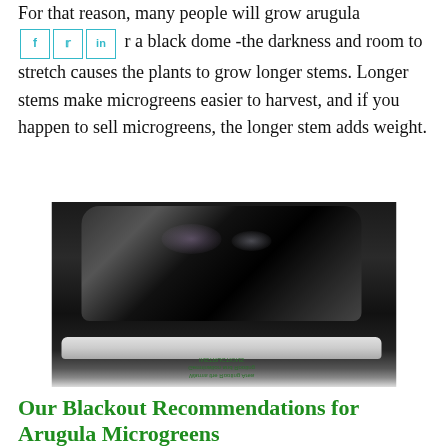For that reason, many people will grow arugula microgreens under a black dome -the darkness and room to stretch causes the plants to grow longer stems. Longer stems make microgreens easier to harvest, and if you happen to sell microgreens, the longer stem adds weight.
[Figure (photo): A black plastic dome/lid placed on top of a clear plastic tray, sitting on a dark surface. The tray has green text on it related to germination and rooting instructions, shown upside down.]
Our Blackout Recommendations for Arugula Microgreens